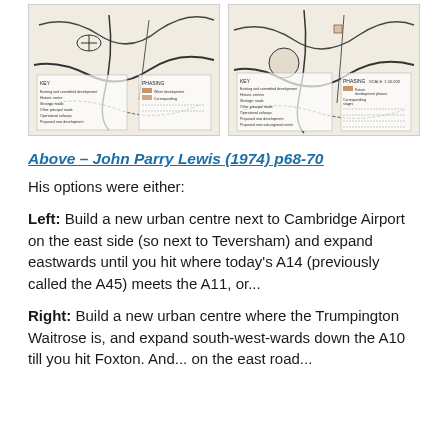[Figure (photo): Two side-by-side historical planning maps showing Cambridge area development options with keys and phasing legends]
Above – John Parry Lewis (1974) p68-70
His options were either:
Left: Build a new urban centre next to Cambridge Airport on the east side (so next to Teversham) and expand eastwards until you hit where today's A14 (previously called the A45) meets the A11, or...
Right: Build a new urban centre where the Trumpington Waitrose is, and expand south-west-wards down the A10 till you hit Foxton. And... on the east road...